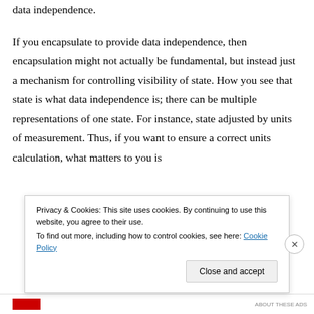data independence.
If you encapsulate to provide data independence, then encapsulation might not actually be fundamental, but instead just a mechanism for controlling visibility of state. How you see that state is what data independence is; there can be multiple representations of one state. For instance, state adjusted by units of measurement. Thus, if you want to ensure a correct units calculation, what matters to you is
Privacy & Cookies: This site uses cookies. By continuing to use this website, you agree to their use.
To find out more, including how to control cookies, see here: Cookie Policy
Close and accept